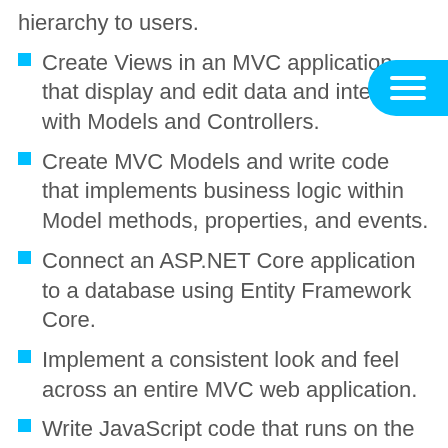hierarchy to users.
Create Views in an MVC application that display and edit data and interact with Models and Controllers.
Create MVC Models and write code that implements business logic within Model methods, properties, and events.
Connect an ASP.NET Core application to a database using Entity Framework Core.
Implement a consistent look and feel across an entire MVC web application.
Write JavaScript code that runs on the client-side and utilizes the jQuery script library to optimize the responsiveness of an MVC web application.
Add client side packages and configure